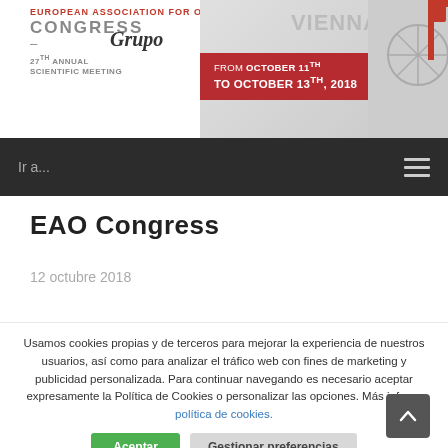[Figure (screenshot): EAO Congress website header banner showing EAO logo, Grupo overlay text, Vienna location with red event banner showing 'FROM OCTOBER 11TH TO OCTOBER 13TH, 2018', and a crane image on the right]
Ir a... ☰
EAO Congress
12 octubre 2018
Usamos cookies propias y de terceros para mejorar la experiencia de nuestros usuarios, así como para analizar el tráfico web con fines de marketing y publicidad personalizada. Para continuar navegando es necesario aceptar expresamente la Política de Cookies o personalizar las opciones. Más info en política de cookies.